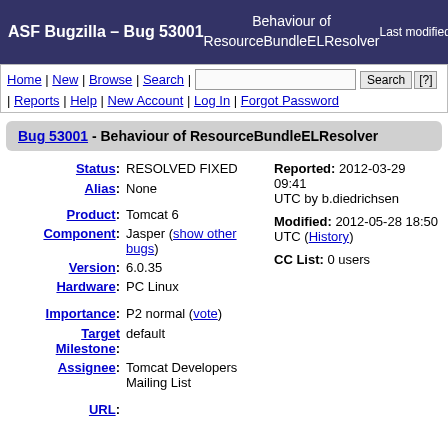ASF Bugzilla – Bug 53001 | Behaviour of ResourceBundleELResolver | Last modified: 2
Home | New | Browse | Search | [search box] Search [?] | Reports | Help | New Account | Log In | Forgot Password
Bug 53001 - Behaviour of ResourceBundleELResolver
Status: RESOLVED FIXED
Reported: 2012-03-29 09:41 UTC by b.diedrichsen
Alias: None
Modified: 2012-05-28 18:50 UTC (History)
CC List: 0 users
Product: Tomcat 6
Component: Jasper (show other bugs)
Version: 6.0.35
Hardware: PC Linux
Importance: P2 normal (vote)
Target Milestone: default
Assignee: Tomcat Developers Mailing List
URL: